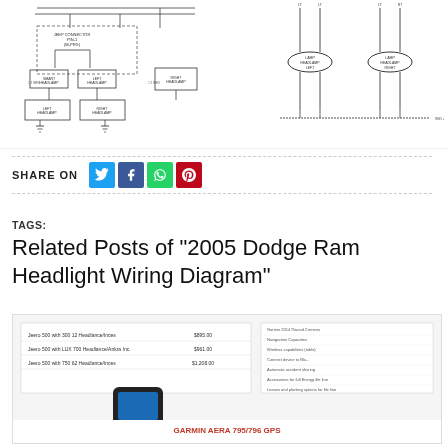[Figure (schematic): Two automotive headlight wiring diagrams side by side. Left diagram shows a complex schematic with a Jeep connector, smart headlamp modules, left and right headlamp connections, and various wire routing with labeled components. Right diagram shows simplified schematic with two lamp headlamp assemblies (left and right) connected by wires with ground symbols.]
SHARE ON
TAGS:
Related Posts of "2005 Dodge Ram Headlight Wiring Diagram"
[Figure (screenshot): A screenshot thumbnail of a document or webpage showing a related post about wiring or automotive content, featuring a table with pricing and a Garmin Aera 795/796 GPS device image.]